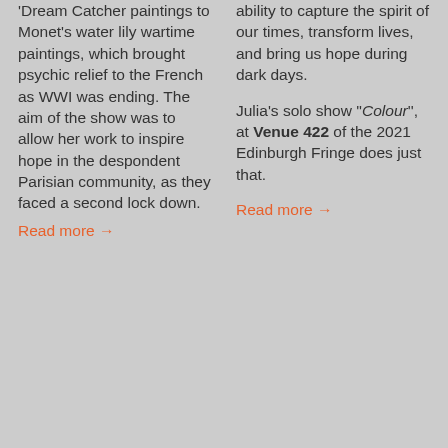'Dream Catcher paintings to Monet's water lily wartime paintings, which brought psychic relief to the French as WWI was ending. The aim of the show was to allow her work to inspire hope in the despondent Parisian community, as they faced a second lock down.
Read more →
ability to capture the spirit of our times, transform lives, and bring us hope during dark days.
Julia's solo show ''Colour'', at Venue 422 of the 2021 Edinburgh Fringe does just that.
Read more →